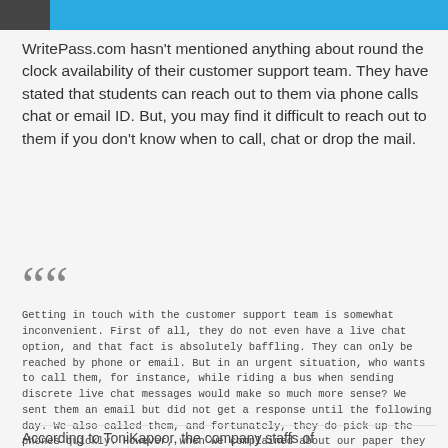WritePass.com hasn't mentioned anything about round the clock availability of their customer support team. They have stated that students can reach out to them via phone calls chat or email ID. But, you may find it difficult to reach out to them if you don't know when to call, chat or drop the mail.
““ Getting in touch with the customer support team is somewhat inconvenient. First of all, they do not even have a live chat option, and that fact is absolutely baffling. They can only be reached by phone or email. But in an urgent situation, who wants to call them, for instance, while riding a bus when sending discrete live chat messages would make so much more sense? We sent them an email but did not get a response until the following day. We also called them, and fortunately, they do pick up the phones quickly. However, when we complained about our paper they did not seem particularly Sympathetic. The woman we talked to said we should have done a better job of communicating with our writer when, in fact, the writer should have taken more initiative.
According to ToniKapoor, the company staffs of